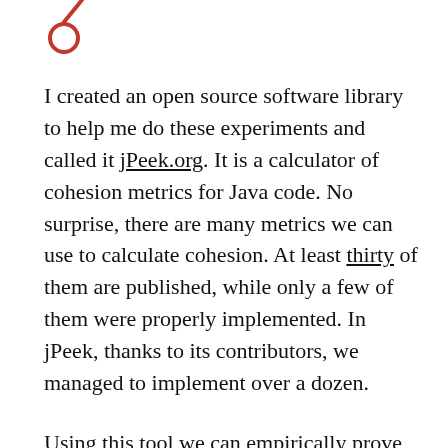[Figure (logo): Red circular logo icon resembling a stylized person or letter O with a diagonal line, positioned top-left]
I created an open source software library to help me do these experiments and called it jPeek.org. It is a calculator of cohesion metrics for Java code. No surprise, there are many metrics we can use to calculate cohesion. At least thirty of them are published, while only a few of them were properly implemented. In jPeek, thanks to its contributors, we managed to implement over a dozen.

Using this tool we can empirically prove some of the key points of EO. For example, we can prove that mutable classes are less cohesive